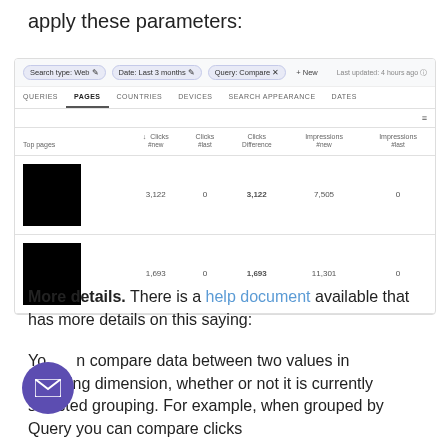apply these parameters:
[Figure (screenshot): Google Search Console screenshot showing filter bar with Search type: Web, Date: Last 3 months, Query: Compare filters, tabs (Queries, Pages, Countries, Devices, Search Appearance, Dates), and a data table with columns: Top pages, Clicks new, Clicks #last, Clicks Difference, Impressions new, Impressions #last. Two rows of data with a black redacted box in the first column. Row 1: 3,122 | 0 | 3,122 | 7,505 | 0. Row 2: 1,693 | 0 | 1,693 | 11,301 | 0.]
More details. There is a help document available that has more details on this saying:
You can compare data between two values in grouping dimension, whether or not it is currently selected grouping. For example, when grouped by Query you can compare clicks